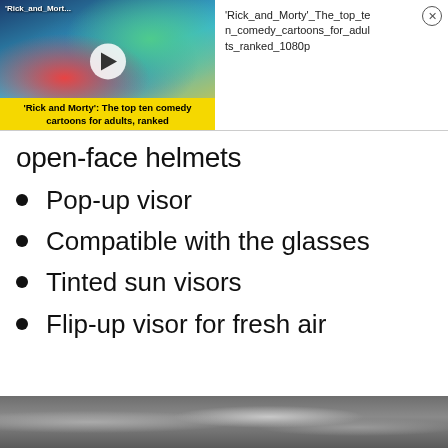[Figure (screenshot): Video thumbnail showing Rick and Morty animated characters with colorful background and yellow play button overlay. Title label reads 'Rick and Morty': The top ten comedy cartoons for adults, ranked]
'Rick_and_Morty'_The_top_ten_comedy_cartoons_for_adults_ranked_1080p
open-face helmets
Pop-up visor
Compatible with the glasses
Tinted sun visors
Flip-up visor for fresh air
[Figure (photo): Close-up photo of dark textured material, appears to be fabric or leather surface]